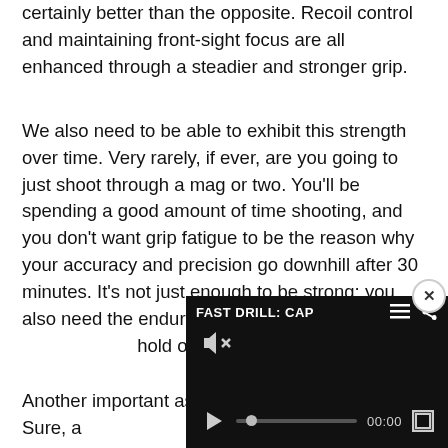certainly better than the opposite. Recoil control and maintaining front-sight focus are all enhanced through a steadier and stronger grip.
We also need to be able to exhibit this strength over time. Very rarely, if ever, are you going to just shoot through a mag or two. You'll be spending a good amount of time shooting, and you don't want grip fatigue to be the reason why your accuracy and precision go downhill after 30 minutes. It's not just enough to be strong; you also need the endurance in your grip to sustain a firm and solid hold over time.
[Figure (screenshot): Video player overlay showing 'FAST DRILL: CAP...' with mute icon, play button, progress bar at 00:00, and fullscreen button. Dark background with close (x) button.]
Another important aspect of weapon retention. Sure, a...